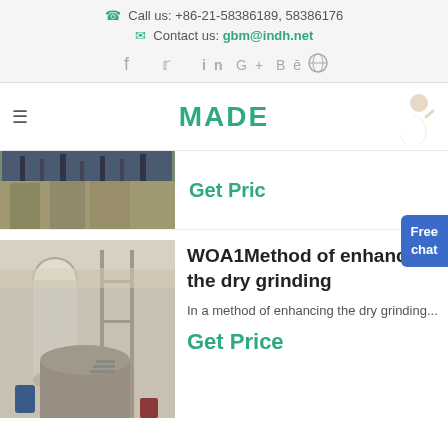Call us: +86-21-58386189, 58386176
Contact us: gbm@indh.net
[Figure (infographic): Social media icons: Facebook, Twitter, LinkedIn, Google+, Behance, globe/web]
[Figure (logo): MADE logo in teal/green bold letters]
[Figure (photo): Partial photo of industrial building/construction site]
Get Price
[Figure (photo): Industrial grinding mill facility interior with large machinery, pipes, scaffolding]
WOA1Method of enhancing the dry grinding
In a method of enhancing the dry grinding...
Get Price